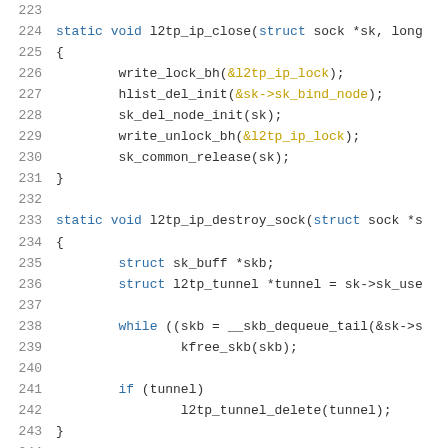[Figure (screenshot): Source code listing lines 223-244 showing C functions l2tp_ip_close and l2tp_ip_destroy_sock]